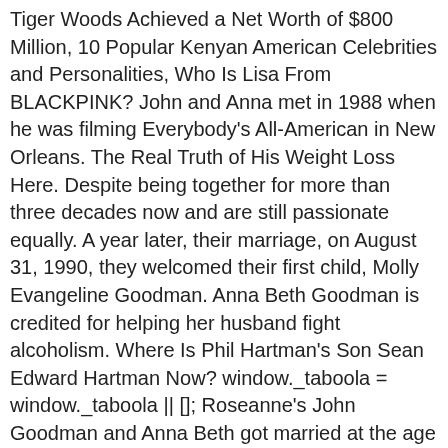Tiger Woods Achieved a Net Worth of $800 Million, 10 Popular Kenyan American Celebrities and Personalities, Who Is Lisa From BLACKPINK? John and Anna met in 1988 when he was filming Everybody's All-American in New Orleans. The Real Truth of His Weight Loss Here. Despite being together for more than three decades now and are still passionate equally. A year later, their marriage, on August 31, 1990, they welcomed their first child, Molly Evangeline Goodman. Anna Beth Goodman is credited for helping her husband fight alcoholism. Where Is Phil Hartman's Son Sean Edward Hartman Now? window._taboola = window._taboola || []; Roseanne's John Goodman and Anna Beth got married at the age of 37 and 21, respectively, at New Orleans's Saint Charles Avenue Presbyterian Church. She was raised in Bogalusa, Louisiana and was enrolled at 'Bogalusa High School'. Anna, who is sometimes referred to as Anna Beth Hartzog Goodman, is 16 years younger than her husband! placement: 'Below Article Thumbnails 2nd' Married To Successful Actor, John